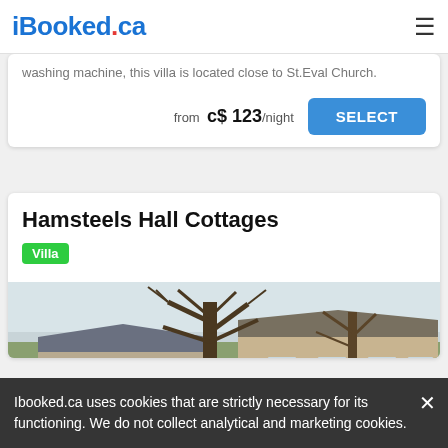iBooked.ca
washing machine, this villa is located close to St.Eval Church.
from c$ 123/night
Hamsteels Hall Cottages
Villa
[Figure (photo): Photograph of Hamsteels Hall Cottages showing stone wall buildings with bare trees, stone boundary wall in foreground with daffodils]
Ibooked.ca uses cookies that are strictly necessary for its functioning. We do not collect analytical and marketing cookies.